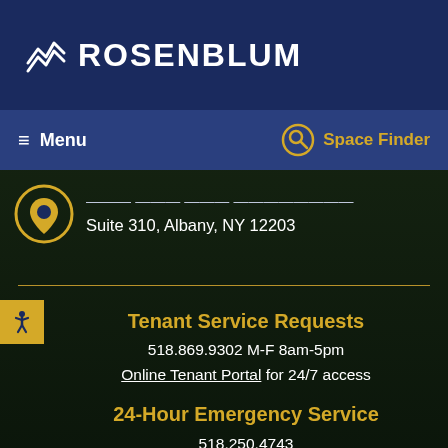[Figure (logo): Rosenblum company logo with chevron/building icon on dark navy background]
≡ Menu    🔍 Space Finder
Suite 310, Albany, NY 12203
Tenant Service Requests
518.869.9302 M-F 8am-5pm
Online Tenant Portal for 24/7 access
24-Hour Emergency Service
518.250.4743
Leasing and Sales
518.888.7129